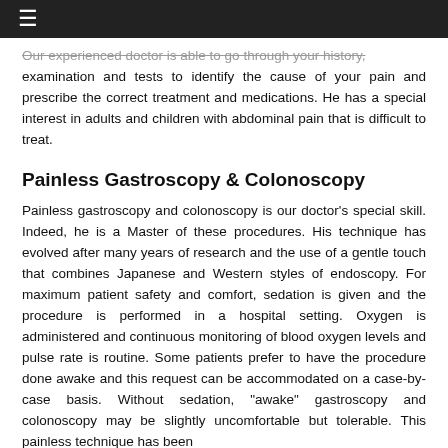≡
Our experienced doctor is able to go through your history, examination and tests to identify the cause of your pain and prescribe the correct treatment and medications. He has a special interest in adults and children with abdominal pain that is difficult to treat.
Painless Gastroscopy & Colonoscopy
Painless gastroscopy and colonoscopy is our doctor's special skill. Indeed, he is a Master of these procedures. His technique has evolved after many years of research and the use of a gentle touch that combines Japanese and Western styles of endoscopy. For maximum patient safety and comfort, sedation is given and the procedure is performed in a hospital setting. Oxygen is administered and continuous monitoring of blood oxygen levels and pulse rate is routine. Some patients prefer to have the procedure done awake and this request can be accommodated on a case-by-case basis. Without sedation, "awake" gastroscopy and colonoscopy may be slightly uncomfortable but tolerable. This painless technique has been